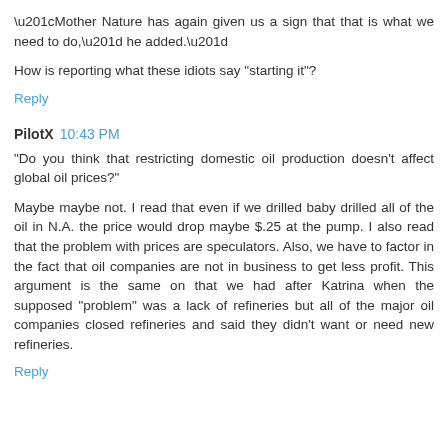“Mother Nature has again given us a sign that that is what we need to do,” he added.”
How is reporting what these idiots say "starting it"?
Reply
PilotX 10:43 PM
"Do you think that restricting domestic oil production doesn't affect global oil prices?"
Maybe maybe not. I read that even if we drilled baby drilled all of the oil in N.A. the price would drop maybe $.25 at the pump. I also read that the problem with prices are speculators. Also, we have to factor in the fact that oil companies are not in business to get less profit. This argument is the same on that we had after Katrina when the supposed "problem" was a lack of refineries but all of the major oil companies closed refineries and said they didn't want or need new refineries.
Reply